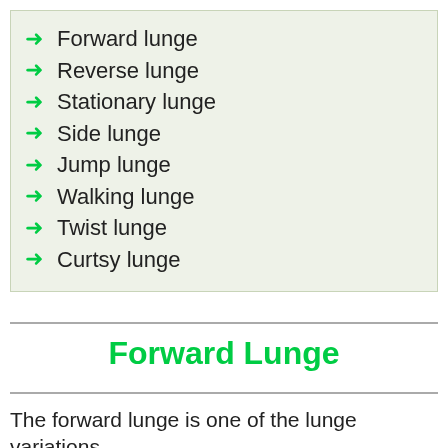Forward lunge
Reverse lunge
Stationary lunge
Side lunge
Jump lunge
Walking lunge
Twist lunge
Curtsy lunge
Forward Lunge
The forward lunge is one of the lunge variations